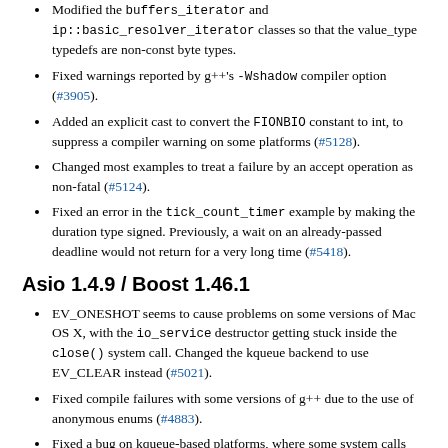Modified the buffers_iterator and ip::basic_resolver_iterator classes so that the value_type typedefs are non-const byte types.
Fixed warnings reported by g++'s -Wshadow compiler option (#3905).
Added an explicit cast to convert the FIONBIO constant to int, to suppress a compiler warning on some platforms (#5128).
Changed most examples to treat a failure by an accept operation as non-fatal (#5124).
Fixed an error in the tick_count_timer example by making the duration type signed. Previously, a wait on an already-passed deadline would not return for a very long time (#5418).
Asio 1.4.9 / Boost 1.46.1
EV_ONESHOT seems to cause problems on some versions of Mac OS X, with the io_service destructor getting stuck inside the close() system call. Changed the kqueue backend to use EV_CLEAR instead (#5021).
Fixed compile failures with some versions of g++ due to the use of anonymous enums (#4883).
Fixed a bug on kqueue-based platforms, where some system calls that repeatedly fail with EWOULDBLOCK are not correctly re-registered with kqueue.
Changed asio::streambuf to ensure that its internal ...